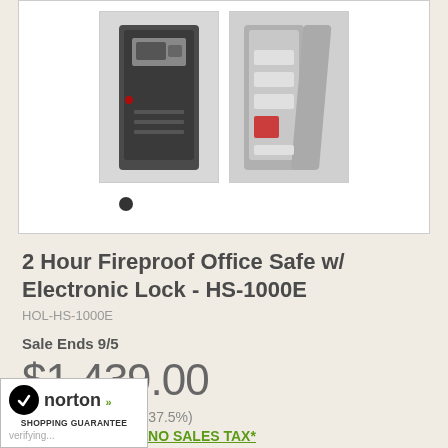[Figure (photo): Two product photos of a fireproof office safe side by side: left shows front view of dark grey safe with electronic lock, right shows open safe revealing interior shelves]
2 Hour Fireproof Office Safe w/ Electronic Lock - HS-1000E
HOL-HS-1000E
Sale Ends 9/5
$1,439.00
You Save: $863.00 (37.5%)
FREE SHIPPING & NO SALES TAX*
Shipping Option:
[Figure (logo): Norton Shopping Guarantee badge with checkmark logo, verifying... text below]